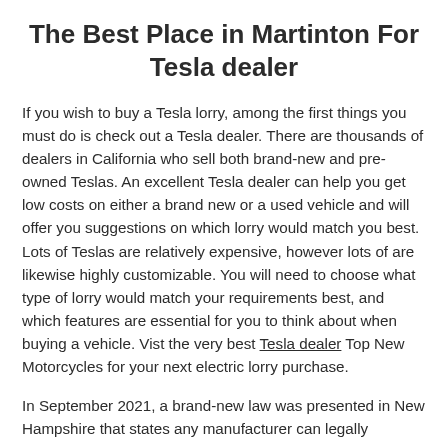The Best Place in Martinton For Tesla dealer
If you wish to buy a Tesla lorry, among the first things you must do is check out a Tesla dealer. There are thousands of dealers in California who sell both brand-new and pre-owned Teslas. An excellent Tesla dealer can help you get low costs on either a brand new or a used vehicle and will offer you suggestions on which lorry would match you best. Lots of Teslas are relatively expensive, however lots of are likewise highly customizable. You will need to choose what type of lorry would match your requirements best, and which features are essential for you to think about when buying a vehicle. Vist the very best Tesla dealer Top New Motorcycles for your next electric lorry purchase.
In September 2021, a brand-new law was presented in New Hampshire that states any manufacturer can legally